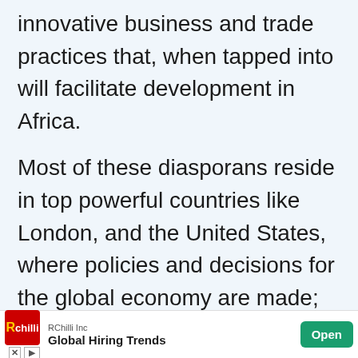innovative business and trade practices that, when tapped into will facilitate development in Africa.
Most of these diasporans reside in top powerful countries like London, and the United States, where policies and decisions for the global economy are made; given these strategic positions, the diasporans have drilled information and expanded their knowledge base, which they can relinquish to their
[Figure (other): Advertisement banner for RChilli Inc - Global Hiring Trends with an Open button]